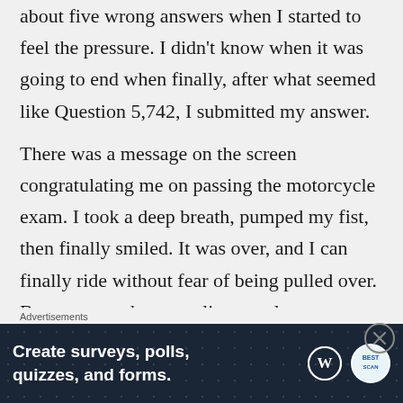about five wrong answers when I started to feel the pressure. I didn't know when it was going to end when finally, after what seemed like Question 5,742, I submitted my answer.

There was a message on the screen congratulating me on passing the motorcycle exam. I took a deep breath, pumped my fist, then finally smiled. It was over, and I can finally ride without fear of being pulled over. Because, you know, police are always looking for guys on scooters to bust for exceeding the speed limit.

I ~~walked over to~~ waited in another line to turn in
[Figure (other): Advertisement banner: 'Create surveys, polls, quizzes, and forms.' with WordPress and brand logos on dark navy background with dot pattern. Close button (X in circle) top right.]